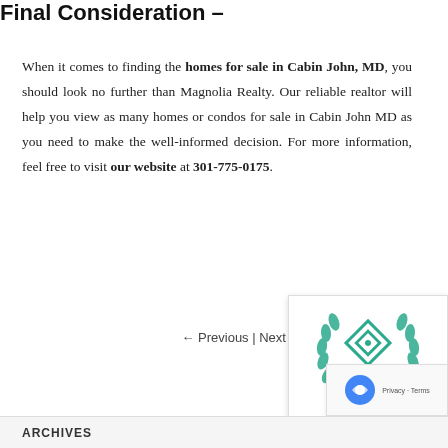Final Consideration –
When it comes to finding the homes for sale in Cabin John, MD, you should look no further than Magnolia Realty. Our reliable realtor will help you view as many homes or condos for sale in Cabin John MD as you need to make the well-informed decision. For more information, feel free to visit our website at 301-775-0175.
← Previous | Next →
[Figure (logo): Expertise.com badge with teal diamond logo and laurel wreath, text: Best Real Estate Agents German... 202...]
ARCHIVES